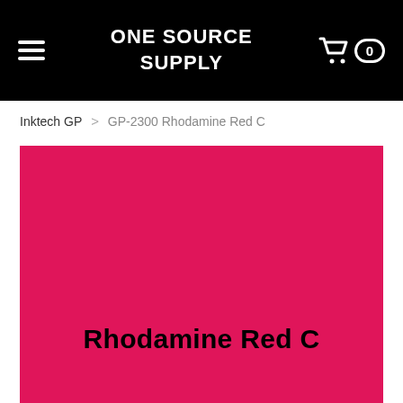ONE SOURCE SUPPLY
Inktech GP > GP-2300 Rhodamine Red C
[Figure (photo): Large rhodamine red/pink color swatch block with bold text 'Rhodamine Red C' printed on it in black.]